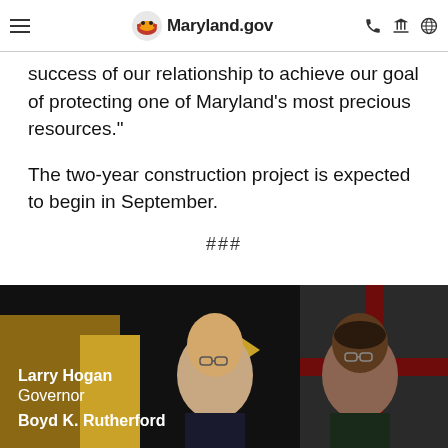Maryland.gov
success of our relationship to achieve our goal of protecting one of Maryland’s most precious resources."
The two-year construction project is expected to begin in September.
###
[Figure (photo): Footer banner with photos of Larry Hogan (Governor) and Boyd K. Rutherford on a dark background with Maryland flag imagery]
Larry Hogan
Governor
Boyd K. Rutherford